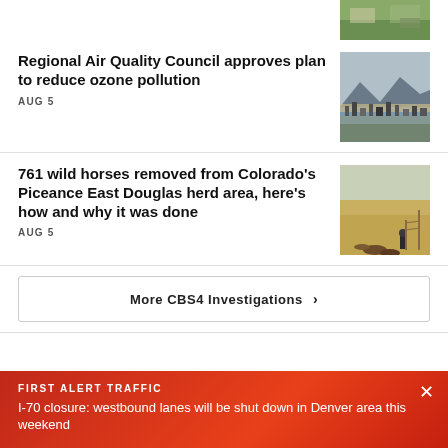[Figure (photo): Aerial photo partially visible at top right]
Regional Air Quality Council approves plan to reduce ozone pollution
AUG 5
[Figure (photo): Smoggy cityscape with mountains in background]
761 wild horses removed from Colorado's Piceance East Douglas herd area, here's how and why it was done
AUG 5
[Figure (photo): Wild horses in a dry grassy field]
More CBS4 Investigations ›
FIRST ALERT TRAFFIC
I-70 closure: westbound lanes will be shut down in Denver area this weekend